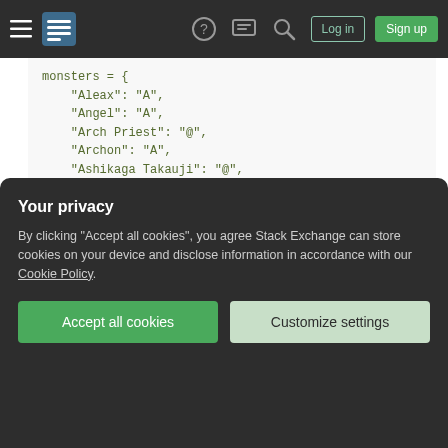Stack Exchange navigation bar with hamburger menu, logo, help, chat, search icons, Log in and Sign up buttons
[Figure (screenshot): Code block showing Python/JSON dictionary named 'monsters' with monster names as keys and single character symbols as values. Entries visible: Aleax:A, Angel:A, Arch Priest:@, Archon:A, Ashikaga Takauji:@, Asmodeus:&, Baalzebub:&, Chromatic Dragon:D, Croesus:@, Cyclops:H, Dark One:@, Death:&, Demogorgon:&]
Your privacy
By clicking "Accept all cookies", you agree Stack Exchange can store cookies on your device and disclose information in accordance with our Cookie Policy.
Accept all cookies | Customize settings
[Figure (screenshot): Bottom of code block showing Ixoth: D entry]